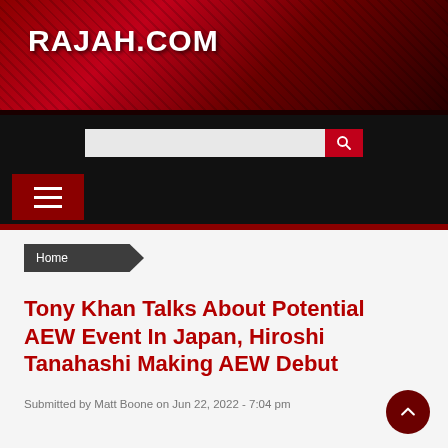RAJAH.COM
[Figure (logo): Rajah.com website header banner with dark red crowd background and RAJAH.COM site name]
Home
Tony Khan Talks About Potential AEW Event In Japan, Hiroshi Tanahashi Making AEW Debut
Submitted by Matt Boone on Jun 22, 2022 - 7:04 pm
AEW News